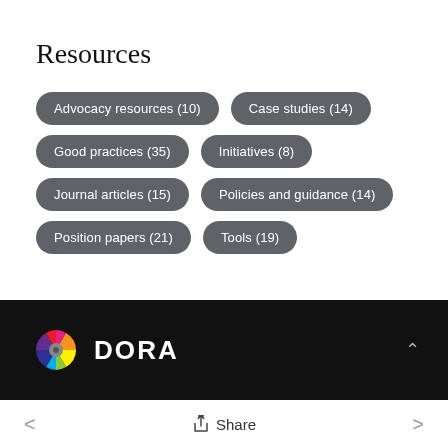Resources
Advocacy resources (10)
Case studies (14)
Good practices (35)
Initiatives (8)
Journal articles (15)
Policies and guidance (14)
Position papers (21)
Tools (19)
[Figure (logo): DORA logo with colorful star/pinwheel icon and DORA text in white on black background]
Share